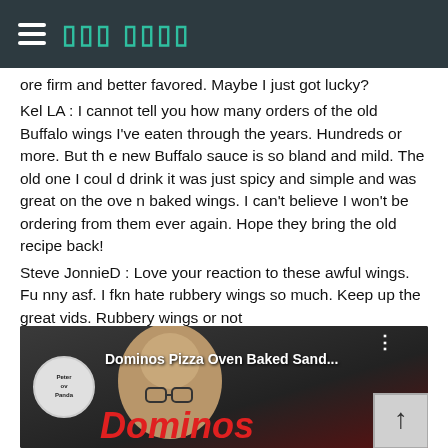Peter ov Panda (site title with hamburger menu)
ore firm and better favored. Maybe I just got lucky?
Kel LA : I cannot tell you how many orders of the old Buffalo wings I've eaten through the years. Hundreds or more. But the new Buffalo sauce is so bland and mild. The old one I could drink it was just spicy and simple and was great on the oven baked wings. I can't believe I won't be ordering from them ever again. Hope they bring the old recipe back!
Steve JonnieD : Love your reaction to these awful wings. Funny asf. I fkn hate rubbery wings so much. Keep up the great vids. Rubbery wings or not
Dominos Pizza Oven Baked Sandwiches Review
[Figure (screenshot): YouTube video thumbnail for 'Dominos Pizza Oven Baked Sand...' showing Peter ov Panda channel logo and a person's face with Dominos text in red italic at the bottom]